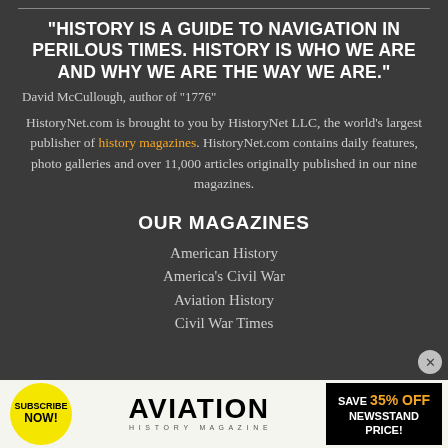“HISTORY IS A GUIDE TO NAVIGATION IN PERILOUS TIMES. HISTORY IS WHO WE ARE AND WHY WE ARE THE WAY WE ARE.”
David McCullough, author of “1776”
HistoryNet.com is brought to you by HistoryNet LLC, the world’s largest publisher of history magazines. HistoryNet.com contains daily features, photo galleries and over 11,000 articles originally published in our nine magazines.
OUR MAGAZINES
American History
America’s Civil War
Aviation History
Civil War Times
[Figure (screenshot): Advertisement banner for Aviation History magazine subscription. Yellow circular badge says SUBSCRIBE NOW!, center shows AVIATION HISTORY MAGAZINE logo in black text, right side on black background says SAVE 35% OFF NEWSSTAND PRICE! with 35% OFF in orange.]